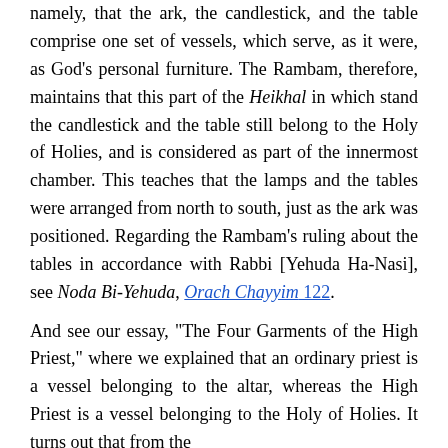namely, that the ark, the candlestick, and the table comprise one set of vessels, which serve, as it were, as God's personal furniture. The Rambam, therefore, maintains that this part of the Heikhal in which stand the candlestick and the table still belong to the Holy of Holies, and is considered as part of the innermost chamber. This teaches that the lamps and the tables were arranged from north to south, just as the ark was positioned. Regarding the Rambam's ruling about the tables in accordance with Rabbi [Yehuda Ha-Nasi], see Noda Bi-Yehuda, Orach Chayyim 122.
And see our essay, "The Four Garments of the High Priest," where we explained that an ordinary priest is a vessel belonging to the altar, whereas the High Priest is a vessel belonging to the Holy of Holies. It turns out that from the